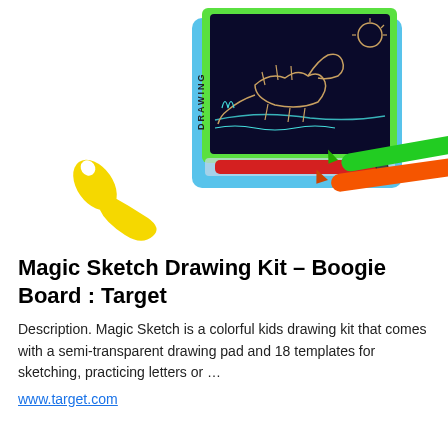[Figure (photo): Product photo of Magic Sketch Drawing Kit – Boogie Board showing a drawing board with neon green border, blue transparent base, a red stylus, a yellow spatula-shaped tool, and two marker-style pens (green and orange). The board displays a crayon sketch of a dinosaur scene.]
Magic Sketch Drawing Kit – Boogie Board : Target
Description. Magic Sketch is a colorful kids drawing kit that comes with a semi-transparent drawing pad and 18 templates for sketching, practicing letters or …
www.target.com